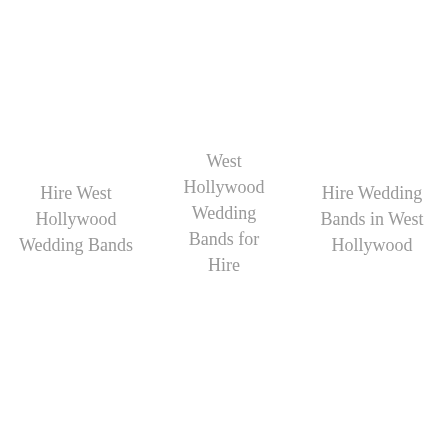Hire West Hollywood Wedding Bands
West Hollywood Wedding Bands for Hire
Hire Wedding Bands in West Hollywood